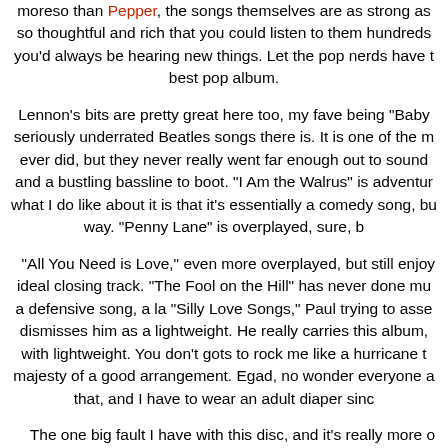moreso than Pepper, the songs themselves are as strong as so thoughtful and rich that you could listen to them hundreds you'd always be hearing new things. Let the pop nerds have t best pop album.
Lennon's bits are pretty great here too, my fave being "Baby seriously underrated Beatles songs there is. It is one of the m ever did, but they never really went far enough out to sound and a bustling bassline to boot. "I Am the Walrus" is adventur what I do like about it is that it's essentially a comedy song, bu way. "Penny Lane" is overplayed, sure, b
"All You Need is Love," even more overplayed, but still enjoy ideal closing track. "The Fool on the Hill" has never done mu a defensive song, a la "Silly Love Songs," Paul trying to asse dismisses him as a lightweight. He really carries this album, with lightweight. You don't gots to rock me like a hurricane t majesty of a good arrangement. Egad, no wonder everyone a that, and I have to wear an adult diaper sinc
The one big fault I have with this disc, and it's really more o general, is that they really should be remastered with current 1987, which in the CD age is genuinely prehistoric. Especially Submarine Songtrack, which features several of these songs need for brilliant new Beatles CDs is pai